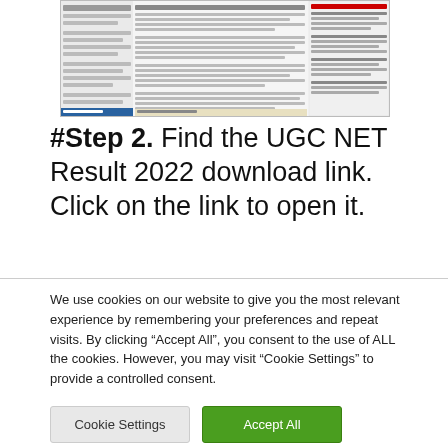[Figure (screenshot): Screenshot of a webpage showing UGC NET related content with sidebar links and Public Notices]
#Step 2. Find the UGC NET Result 2022 download link. Click on the link to open it.
We use cookies on our website to give you the most relevant experience by remembering your preferences and repeat visits. By clicking “Accept All”, you consent to the use of ALL the cookies. However, you may visit "Cookie Settings" to provide a controlled consent.
Cookie Settings
Accept All